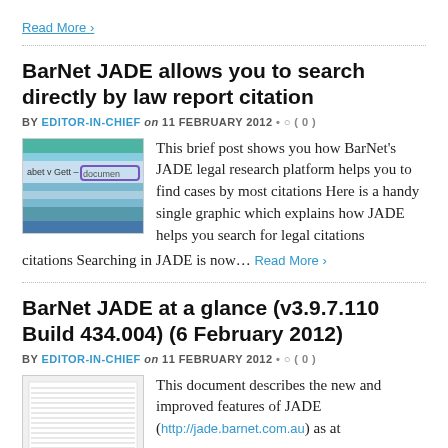Read More ›
BarNet JADE allows you to search directly by law report citation
BY EDITOR-IN-CHIEF on 11 FEBRUARY 2012 • ◯ ( 0 )
[Figure (screenshot): Screenshot of JADE legal research platform showing a search interface with coloured bars and the text 'abet v Gett' and 'documen']
This brief post shows you how BarNet's JADE legal research platform helps you to find cases by most citations Here is a handy single graphic which explains how JADE helps you search for legal citations Searching in JADE is now... Read More ›
BarNet JADE at a glance (v3.9.7.110 Build 434.004) (6 February 2012)
BY EDITOR-IN-CHIEF on 11 FEBRUARY 2012 • ◯ ( 0 )
[Figure (screenshot): Screenshot of a document page with dense text content describing JADE features]
This document describes the new and improved features of JADE (http://jade.barnet.com.au) as at